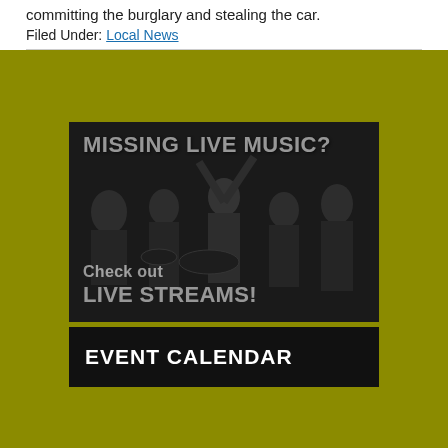committing the burglary and stealing the car.
Filed Under: Local News
[Figure (photo): Advertisement banner showing a rock band in black and white with text 'MISSING LIVE MUSIC? Check out Live Streams!' on a dark background]
EVENT CALENDAR